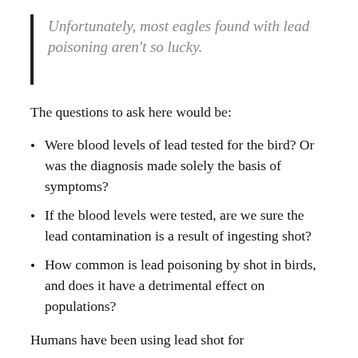Unfortunately, most eagles found with lead poisoning aren’t so lucky.
The questions to ask here would be:
Were blood levels of lead tested for the bird? Or was the diagnosis made solely the basis of symptoms?
If the blood levels were tested, are we sure the lead contamination is a result of ingesting shot?
How common is lead poisoning by shot in birds, and does it have a detrimental effect on populations?
Humans have been using lead shot for